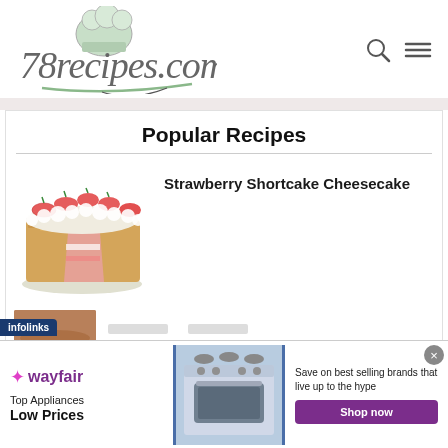[Figure (logo): 78recipes.com logo with chef hat and cursive script]
Popular Recipes
Strawberry Shortcake Cheesecake
[Figure (photo): Strawberry shortcake cheesecake with crumble coating and fresh strawberry topping, slice removed]
[Figure (screenshot): Wayfair advertisement: Top Appliances Low Prices, Shop now button, image of kitchen range]
infolinks